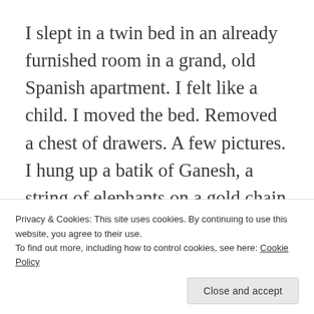I slept in a twin bed in an already furnished room in a grand, old Spanish apartment. I felt like a child. I moved the bed. Removed a chest of drawers. A few pictures. I hung up a batik of Ganesh, a string of elephants on a gold chain and a vision board I created around Thanksgiving time. I was still
Privacy & Cookies: This site uses cookies. By continuing to use this website, you agree to their use.
To find out more, including how to control cookies, see here: Cookie Policy
Close and accept
The thought of living alone, setting up